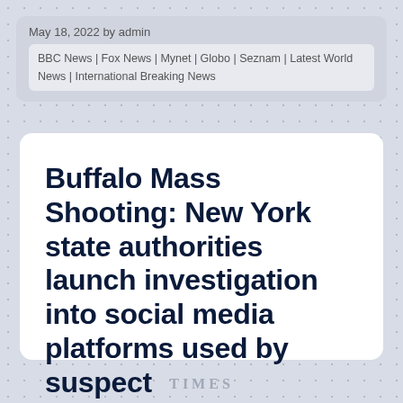May 18, 2022 by admin
BBC News | Fox News | Mynet | Globo | Seznam | Latest World News | International Breaking News
Buffalo Mass Shooting: New York state authorities launch investigation into social media platforms used by suspect
TIMES